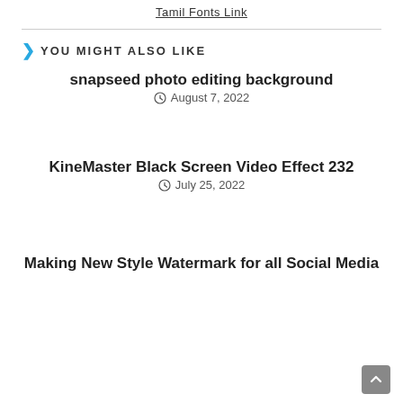Tamil Fonts Link
YOU MIGHT ALSO LIKE
snapseed photo editing background
August 7, 2022
KineMaster Black Screen Video Effect 232
July 25, 2022
Making New Style Watermark for all Social Media